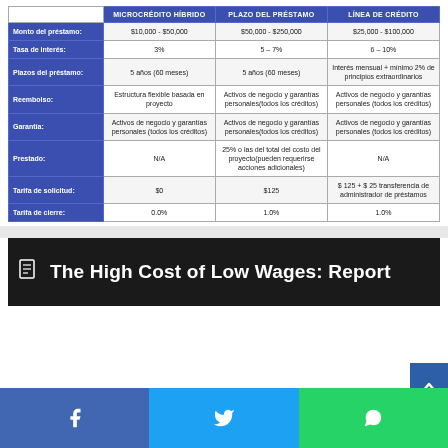|  | MICROCRÉDITO HÍBRIDO | PLAZO DEL PRÉSTAMO | LÍNEA DE CRÉDITO |
| --- | --- | --- | --- |
| Monto del préstamo: | $10,000 - $50,000 | $50,000 - $250,000 | $25,000 - $100,000 |
| Tasa de interés: | 3% | 5 – 7% | 6 – 10% |
| Plazos del préstamo: | 5 años (60 meses) | 5 años (60 meses) | Interés mensual + mínimo 2% de principios extraordinarios |
| Reembolso: | Estructura flexible basada en proyecto | Activos de negocio y garantías personales(todos los créditos) | Activos de negocio y garantías personales (todos los créditos) |
| Garantía: | Activos de negocio y garantías personales (todos los créditos) | Activos de negocio y garantías personales(todos los créditos) | Activos de negocio y garantías personales (todos los créditos) |
| Prestado: | N/A | 25% o las del total del costo del proyecto(pueden requerirse acciones adicionales) | N/A |
| Tarifa de solicitud: | $0 | $125 | $ 125 + $ 25 transferencia de administrador de préstamos |
| Tarifa de cierre: | 0.0% | 1.0% | 1.0% |
The High Cost of Low Wages: Report